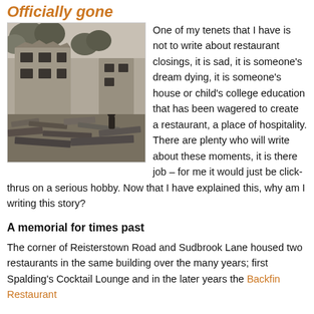Officially gone
[Figure (photo): Black and white photograph of a demolished or heavily damaged building with rubble and debris]
One of my tenets that I have is not to write about restaurant closings, it is sad, it is someone's dream dying, it is someone's house or child's college education that has been wagered to create a restaurant, a place of hospitality. There are plenty who will write about these moments, it is there job – for me it would just be click-thrus on a serious hobby. Now that I have explained this, why am I writing this story?
A memorial for times past
The corner of Reisterstown Road and Sudbrook Lane housed two restaurants in the same building over the many years; first Spalding's Cocktail Lounge and in the later years the Backfin Restaurant